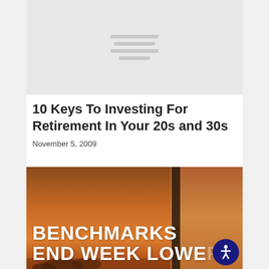[Figure (other): Gray placeholder image with horizontal lines indicating loading image]
10 Keys To Investing For Retirement In Your 20s and 30s
November 5, 2009
[Figure (photo): Sunset photo with silhouette of a tall structure, overlaid with large white bold text reading BENCHMARKS END WEEK LOWER, with an accessibility icon button in the bottom right corner]